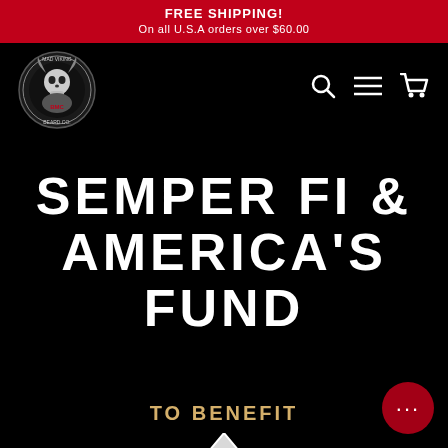FREE SHIPPING! On all U.S.A orders over $60.00
[Figure (logo): Mad Viking Beard Co. circular logo with skull illustration and 'BMC' text]
[Figure (infographic): Navigation icons: search magnifying glass, hamburger menu, shopping cart]
SEMPER FI & AMERICA'S FUND
TO BENEFIT
[Figure (logo): Partial logo/icon at bottom — flag or pennant with stars, cut off by page edge]
[Figure (infographic): Chat bubble button with ellipsis (...)]